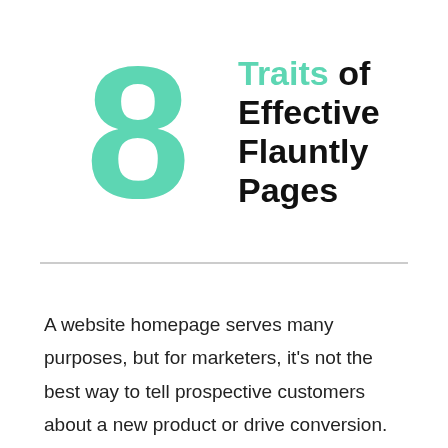8 Traits of Effective Flauntly Pages
A website homepage serves many purposes, but for marketers, it's not the best way to tell prospective customers about a new product or drive conversion. For that, you need a landing page. Unlike homepages,